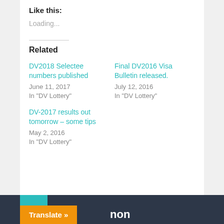Like this:
Loading...
Related
DV2018 Selectee numbers published
June 11, 2017
In "DV Lottery"
Final DV2016 Visa Bulletin released.
July 12, 2016
In "DV Lottery"
DV-2017 results out tomorrow – some tips
May 2, 2016
In "DV Lottery"
Translate » non